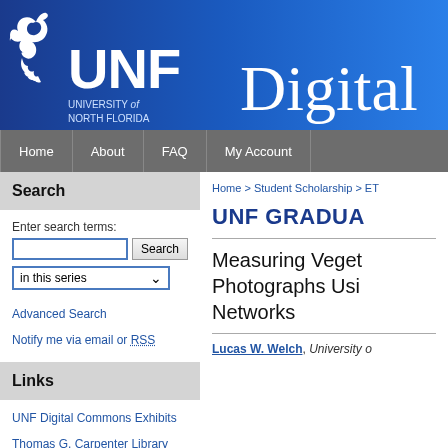[Figure (logo): UNF University of North Florida Digital Commons header banner with osprey logo on blue gradient background]
Home | About | FAQ | My Account
Search
Enter search terms:
in this series
Advanced Search
Notify me via email or RSS
Links
UNF Digital Commons Exhibits
Thomas G. Carpenter Library
Home > Student Scholarship > ET
UNF GRADUA
Measuring Vegetation Photographs Using Networks
Lucas W. Welch, University of